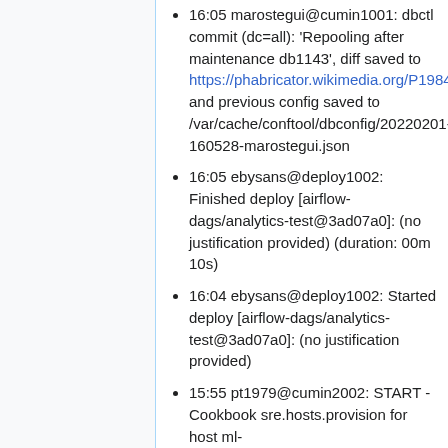16:05 marostegui@cumin1001: dbctl commit (dc=all): 'Repooling after maintenance db1143', diff saved to https://phabricator.wikimedia.org/P19844 and previous config saved to /var/cache/conftool/dbconfig/20220201-160528-marostegui.json
16:05 ebysans@deploy1002: Finished deploy [airflow-dags/analytics-test@3ad07a0]: (no justification provided) (duration: 00m 10s)
16:04 ebysans@deploy1002: Started deploy [airflow-dags/analytics-test@3ad07a0]: (no justification provided)
15:55 pt1979@cumin2002: START - Cookbook sre.hosts.provision for host ml-serve2007.mgmt.codfw.wmnet with